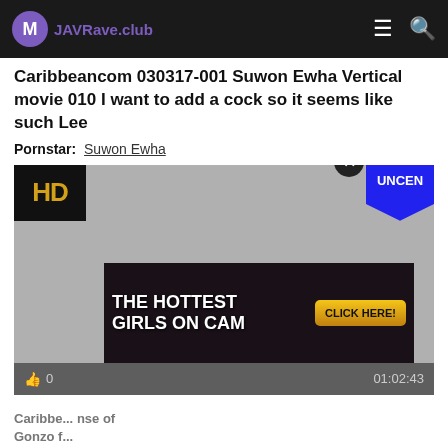JAVRave.club
Caribbeancom 030317-001 Suwon Ewha Vertical movie 010 I want to add a cock so it seems like such Lee
Pornstar: Suwon Ewha
[Figure (screenshot): Video player showing gray placeholder with HD badge in top-left, UNCEN badge in top-right, like button showing 0 likes, duration 01:02:43, and an ad overlay showing 'THE HOTTEST GIRLS ON CAM' with a CLICK HERE button and close X button]
Caribbe... nse of Gonzo f...